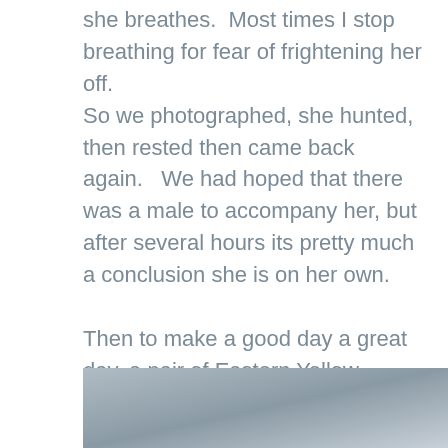she breathes.  Most times I stop breathing for fear of frightening her off. So we photographed, she hunted, then rested then came back again.   We had hoped that there was a male to accompany her, but after several hours its pretty much a conclusion she is on her own.

Then to make a good day a great day, a pair of Eastern Yellow Robins also moved through and some Yellow-faced Honeyeaters to finally fill out a good day visiting friends.
[Figure (photo): Partial view of a photograph, showing a grey-blue blurred background, likely the beginning of a nature/wildlife photo.]